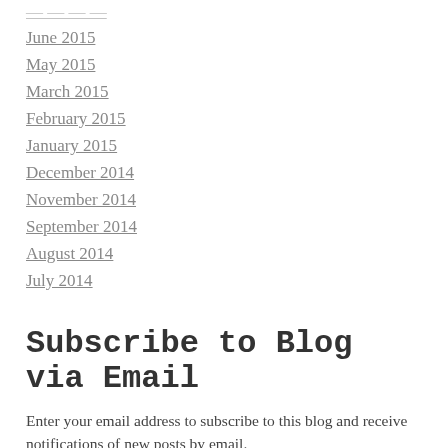June 2015
May 2015
March 2015
February 2015
January 2015
December 2014
November 2014
September 2014
August 2014
July 2014
Subscribe to Blog via Email
Enter your email address to subscribe to this blog and receive notifications of new posts by email.